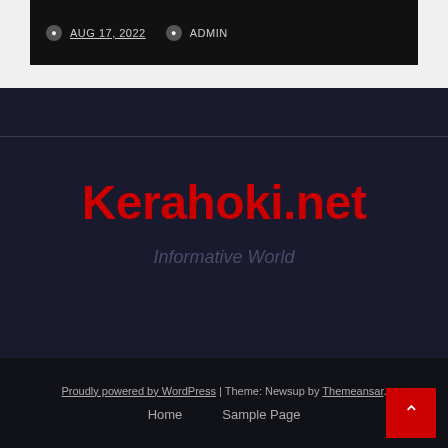AUG 17, 2022  ADMIN
Kerahoki.net
Informative World
Proudly powered by WordPress | Theme: Newsup by Themeansar. Home  Sample Page